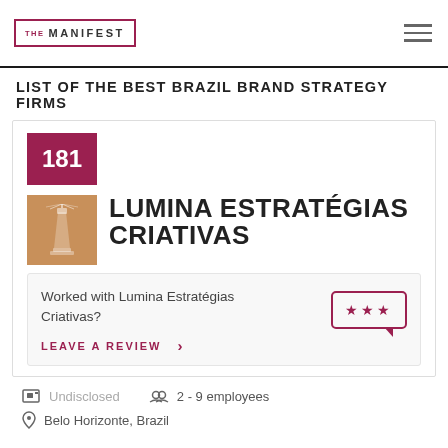THE MANIFEST
LIST OF THE BEST BRAZIL BRAND STRATEGY FIRMS
181
[Figure (logo): Lumina Estratégias Criativas company logo — lighthouse icon on warm brown background]
LUMINA ESTRATÉGIAS CRIATIVAS
Worked with Lumina Estratégias Criativas?
LEAVE A REVIEW  >
Undisclosed
2 - 9 employees
Belo Horizonte, Brazil